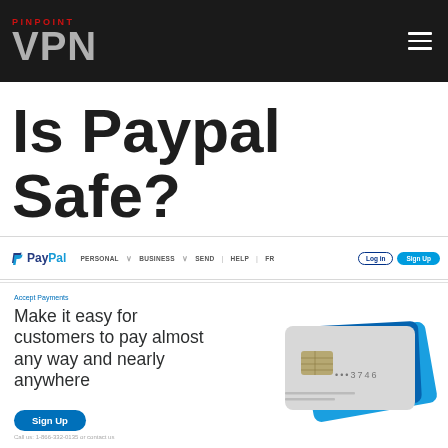PINPOINT VPN
Is Paypal Safe?
[Figure (screenshot): PayPal website navigation bar showing PayPal logo, navigation links (Personal, Business, Send, Help, FR), Log In button, and Sign Up button]
Accept Payments
Make it easy for customers to pay almost any way and nearly anywhere
Sign Up
Call us: 1-866-332-0135 or contact us